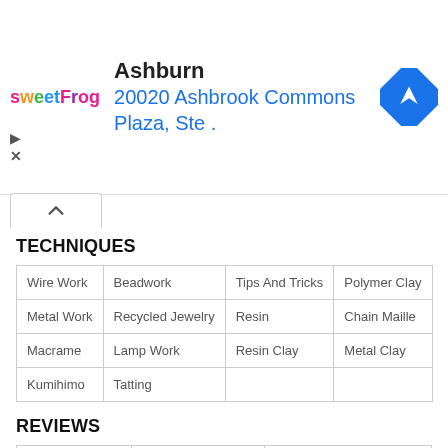[Figure (infographic): Sweet Frog advertisement banner showing location: Ashburn, 20020 Ashbrook Commons Plaza, Ste . with a blue navigation/directions icon on the right]
TECHNIQUES
| Wire Work | Beadwork | Tips And Tricks | Polymer Clay |
| Metal Work | Recycled Jewelry | Resin | Chain Maille |
| Macrame | Lamp Work | Resin Clay | Metal Clay |
| Kumihimo | Tatting |  |  |
REVIEWS
| Book Review | Product Review | Online Class Review |
| Tool Review |  |  |